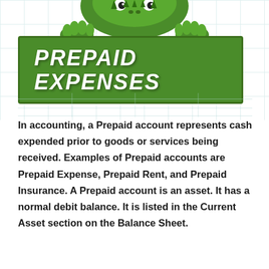[Figure (illustration): Green cartoon dinosaur/monster character peeking from the top of a green banner, visible from waist up with claws resting on the banner edge. Background has light blue grid lines.]
PREPAID EXPENSES
In accounting, a Prepaid account represents cash expended prior to goods or services being received. Examples of Prepaid accounts are Prepaid Expense, Prepaid Rent, and Prepaid Insurance. A Prepaid account is an asset. It has a normal debit balance. It is listed in the Current Asset section on the Balance Sheet.